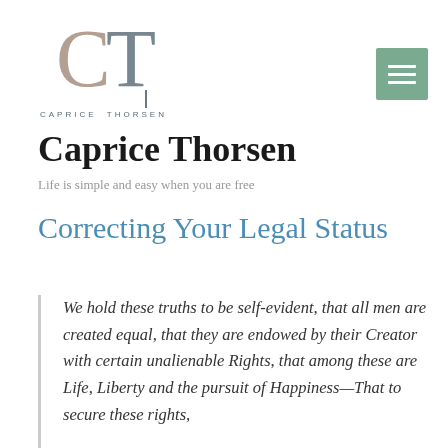[Figure (logo): Caprice Thorsen logo with stylized CT lettermark in gray and the text CAPRICE THORSEN in spaced caps below]
Caprice Thorsen
Life is simple and easy when you are free
Correcting Your Legal Status
We hold these truths to be self-evident, that all men are created equal, that they are endowed by their Creator with certain unalienable Rights, that among these are Life, Liberty and the pursuit of Happiness—That to secure these rights,